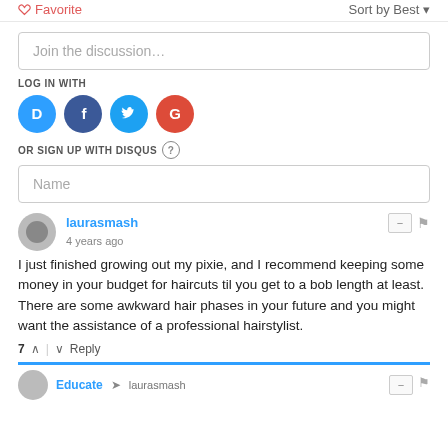Favorite  |  Sort by Best
Join the discussion…
LOG IN WITH
[Figure (infographic): Social login icons: Disqus (blue), Facebook (dark blue), Twitter (light blue), Google (red)]
OR SIGN UP WITH DISQUS
Name
laurasmash
4 years ago
I just finished growing out my pixie, and I recommend keeping some money in your budget for haircuts til you get to a bob length at least. There are some awkward hair phases in your future and you might want the assistance of a professional hairstylist.
7  |  Reply
Educate → laurasmash